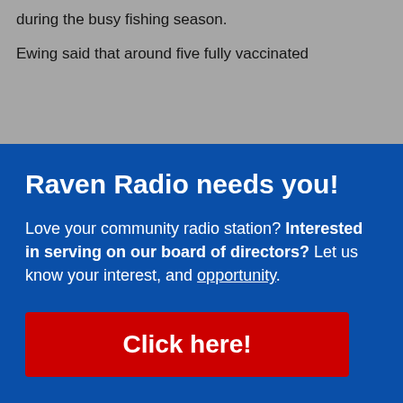during the busy fishing season.
Ewing said that around five fully vaccinated
Raven Radio needs you!
Love your community radio station? Interested in serving on our board of directors? Let us know your interest, and learn about this opportunity.
Click here!
Africa and Europe.
“That’s not a position statement. That’s not an idea. It’s a data-based conclusion, based